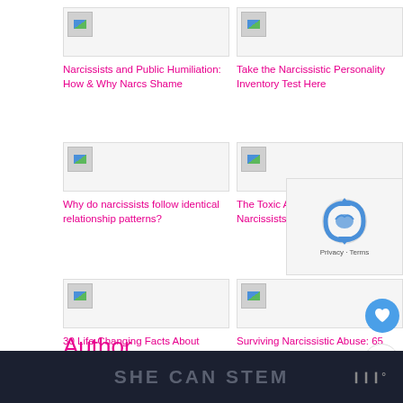[Figure (screenshot): Thumbnail image placeholder for article]
Narcissists and Public Humiliation: How & Why Narcs Shame
[Figure (screenshot): Thumbnail image placeholder for article]
Take the Narcissistic Personality Inventory Test Here
[Figure (screenshot): Thumbnail image placeholder for article]
101 Struggles Only Narcissistic Abuse Victims and Survivors
[Figure (screenshot): Thumbnail image placeholder for article]
Why do narcissists follow identical relationship patterns?
[Figure (screenshot): Thumbnail image placeholder for article]
The Toxic Attraction Between Narcissists and Empaths
[Figure (screenshot): Thumbnail image placeholder for article]
Why Narcissists Are Often Misdiagnosed With Bipolar Disorder
[Figure (screenshot): Thumbnail image placeholder for article]
30 Life-Changing Facts About Narcissists in Relationships
[Figure (screenshot): Thumbnail image placeholder for article]
Surviving Narcissistic Abuse: 65 Things You Might Say to
[Figure (screenshot): Thumbnail image placeholder for article]
How to Train a Narcissist: A Non-Toxic, Repeatable Two-Step Plan
Author
[Figure (screenshot): SHE CAN STEM banner footer]